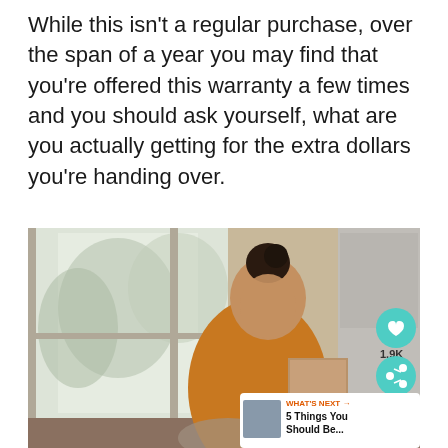While this isn't a regular purchase, over the span of a year you may find that you're offered this warranty a few times and you should ask yourself, what are you actually getting for the extra dollars you're handing over.
[Figure (photo): A smiling woman with dark hair in a bun, wearing an orange/mustard sweater, standing in a bright kitchen near a window, holding a brown paper grocery bag. There are social media UI overlays: a teal heart icon button with 1.9K count, a share icon button, and a 'What's Next' card showing '5 Things You Should Be...' with a thumbnail image.]